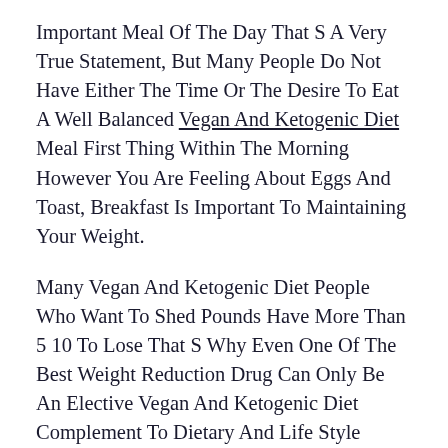Important Meal Of The Day That S A Very True Statement, But Many People Do Not Have Either The Time Or The Desire To Eat A Well Balanced Vegan And Ketogenic Diet Meal First Thing Within The Morning However You Are Feeling About Eggs And Toast, Breakfast Is Important To Maintaining Your Weight.
Many Vegan And Ketogenic Diet People Who Want To Shed Pounds Have More Than 5 10 To Lose That S Why Even One Of The Best Weight Reduction Drug Can Only Be An Elective Vegan And Ketogenic Diet Complement To Dietary And Life Style Interventions That S Why This Piece Of Recommendation Is Quantity 18 Out Of 18.
Don T Change Every Little How many calories keto diet Thing At Once A Few Small Tweaks To Your Food Regimen And Movement At First Could Make An Enormous